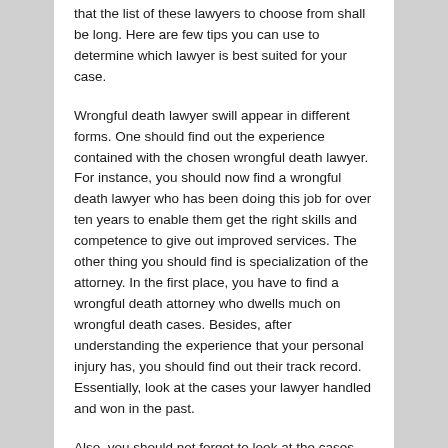that the list of these lawyers to choose from shall be long. Here are few tips you can use to determine which lawyer is best suited for your case.
Wrongful death lawyer swill appear in different forms. One should find out the experience contained with the chosen wrongful death lawyer. For instance, you should now find a wrongful death lawyer who has been doing this job for over ten years to enable them get the right skills and competence to give out improved services. The other thing you should find is specialization of the attorney. In the first place, you have to find a wrongful death attorney who dwells much on wrongful death cases. Besides, after understanding the experience that your personal injury has, you should find out their track record. Essentially, look at the cases your lawyer handled and won in the past.
Also, you should not forget to look at the cases they have settled when out of court. Again, as you star narrowing down to any wrongful death lawyer, you have to confirm